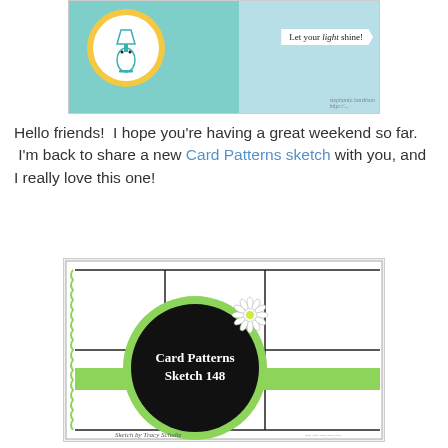[Figure (photo): A handmade greeting card in teal/aqua color with a yellow scalloped circle containing a lamp image, and a white banner reading 'Let your light shine!' with a watermark.]
Hello friends!  I hope you're having a great weekend so far.  I'm back to share a new Card Patterns sketch with you, and I really love this one!
[Figure (illustration): Card Patterns Sketch 148 — a card layout sketch showing a rectangular card divided into sections with a large black scalloped circle containing text 'Card Patterns Sketch 148', a daisy flower accent, and a green horizontal band. Sketch by Tracy Schultz.]